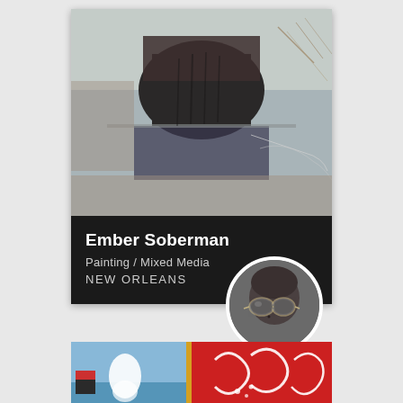[Figure (photo): Mixed media painting showing abstract landscape with dark central forms, muted blues and browns, reflective surface, and bare branch textures]
Ember Soberman
Painting / Mixed Media
NEW ORLEANS
[Figure (photo): Circular black and white portrait photo of artist wearing aviator sunglasses, close-up face shot]
[Figure (photo): Partial view of colorful artworks: left side shows blue and white painting with figure, right side shows vibrant red painting with swirling white decorative forms]